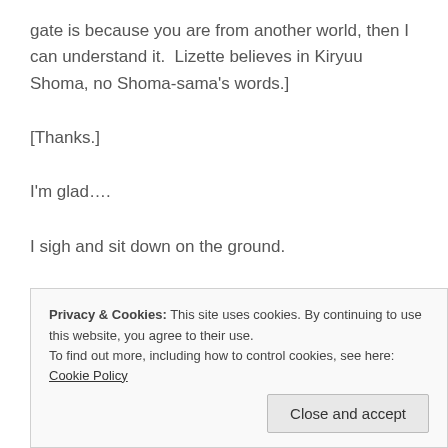gate is because you are from another world, then I can understand it.  Lizette believes in Kiryuu Shoma, no Shoma-sama's words.]
[Thanks.]
I'm glad….
I sigh and sit down on the ground.
Privacy & Cookies: This site uses cookies. By continuing to use this website, you agree to their use.
To find out more, including how to control cookies, see here: Cookie Policy
Close and accept